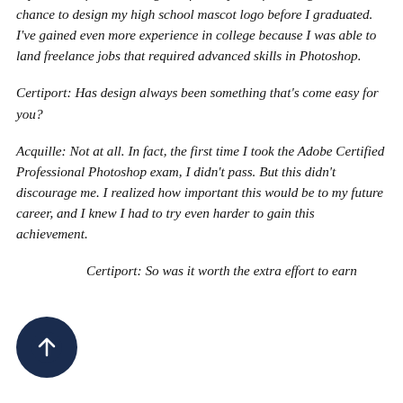photo and digital art field. I've been able to gain so much experience after becoming certified. My certification gave me a chance to design my high school mascot logo before I graduated. I've gained even more experience in college because I was able to land freelance jobs that required advanced skills in Photoshop.
Certiport: Has design always been something that's come easy for you?
Acquille: Not at all. In fact, the first time I took the Adobe Certified Professional Photoshop exam, I didn't pass. But this didn't discourage me. I realized how important this would be to my future career, and I knew I had to try even harder to gain this achievement.
Certiport: So was it worth the extra effort to earn